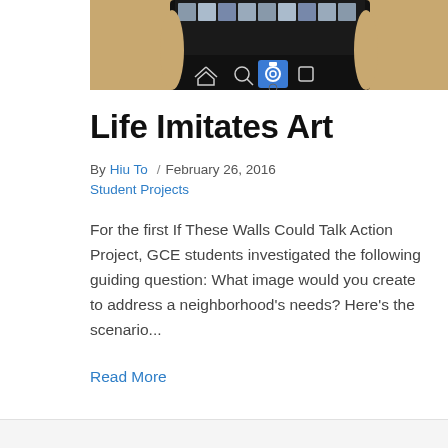[Figure (photo): A hand holding a smartphone showing an Instagram-like camera app interface with navigation icons at the bottom]
Life Imitates Art
By Hiu To / February 26, 2016
Student Projects
For the first If These Walls Could Talk Action Project, GCE students investigated the following guiding question: What image would you create to address a neighborhood's needs? Here's the scenario...
Read More